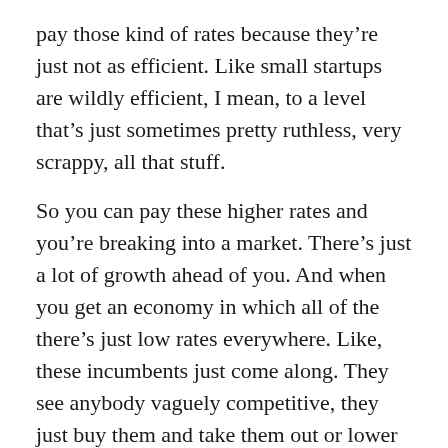pay those kind of rates because they're just not as efficient. Like small startups are wildly efficient, I mean, to a level that's just sometimes pretty ruthless, very scrappy, all that stuff.
So you can pay these higher rates and you're breaking into a market. There's just a lot of growth ahead of you. And when you get an economy in which all of the there's just low rates everywhere. Like, these incumbents just come along. They see anybody vaguely competitive, they just buy them and take them out or lower their prices and put them out of business. It's this very promineopoly kind of situation when you have persistent low rates. And it's really unfortunate because I think America is really good in entrepreneurship. It's one of the things that's one of our things we value as a society. So a lot of